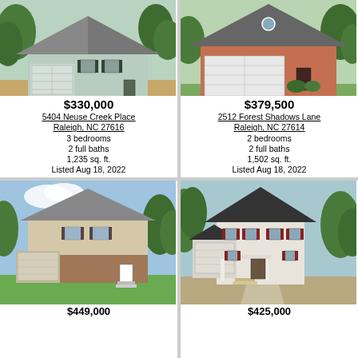[Figure (photo): Light blue ranch-style house with gray roof, single car garage, trees in background]
$330,000
5404 Neuse Creek Place
Raleigh, NC 27616
3 bedrooms
2 full baths
1,235 sq. ft.
Listed Aug 18, 2022
[Figure (photo): Brick house with white two-car garage, trees in background]
$379,500
2512 Forest Shadows Lane
Raleigh, NC 27614
2 bedrooms
2 full baths
1,502 sq. ft.
Listed Aug 18, 2022
[Figure (photo): Split-level house with brick lower level, beige upper level, green lawn]
[Figure (photo): Colonial style house with white siding, red shutters, front porch, two-car garage]